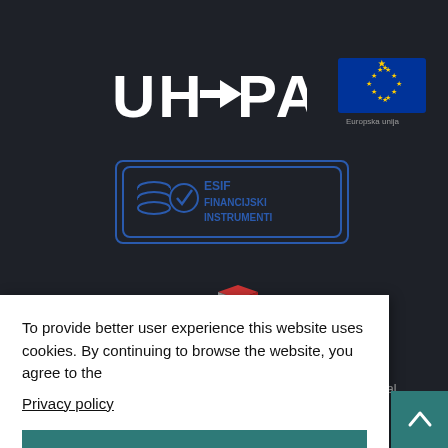[Figure (logo): UHPA logo in white text with arrow symbol on dark background]
[Figure (logo): European Union flag with circle of yellow stars on blue background, with 'Europska unija' text below]
[Figure (logo): ESIF Financijski Instrumenti logo in blue rounded rectangle border with database and checkmark icon]
[Figure (logo): HAMAG-BICRO logo with red and white 3D cube graphic between the words]
Final recipient of a financial instrument co-financed by the
nder the Operational
d Cohesion"
All rights reserved
SPEKT
To provide better user experience this website uses cookies. By continuing to browse the website, you agree to the
Privacy policy
Alright